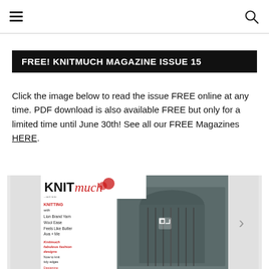☰ [search icon]
FREE! KNITMUCH MAGAZINE ISSUE 15
Click the image below to read the issue FREE online at any time. PDF download is also available FREE but only for a limited time until June 30th! See all our FREE Magazines HERE.
[Figure (photo): KNITmuch magazine issue 15 cover showing a knitted cable-pattern turtleneck sweater in grey, worn on a mannequin outdoors. The magazine masthead reads 'KNITmuch' in bold black and red script. Left side shows text listing knitting features including Lion Brand Yarn, Wool Ease, Feels Like Butter, and other content sections. A navigation arrow appears on the right side.]